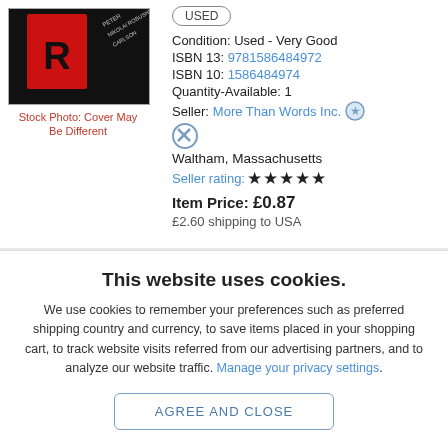[Figure (photo): Book cover photo thumbnail with dark background and red/white text]
Stock Photo: Cover May Be Different
USED
Condition:  Used - Very Good
ISBN 13:  9781586484972
ISBN 10:  1586484974
Quantity-Available:  1
Seller:  More Than Words Inc.
Waltham, Massachusetts
Seller rating: ★★★★★
Item Price: £0.87
£2.60 shipping to USA
This website uses cookies.
We use cookies to remember your preferences such as preferred shipping country and currency, to save items placed in your shopping cart, to track website visits referred from our advertising partners, and to analyze our website traffic. Manage your privacy settings.
AGREE AND CLOSE